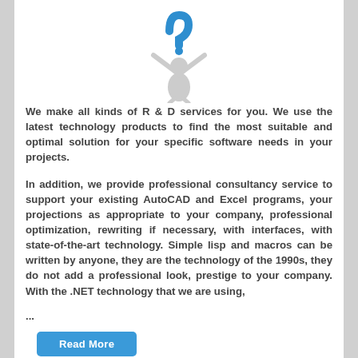[Figure (illustration): 3D cartoon figure holding a large blue question mark symbol overhead]
We make all kinds of R & D services for you. We use the latest technology products to find the most suitable and optimal solution for your specific software needs in your projects.
In addition, we provide professional consultancy service to support your existing AutoCAD and Excel programs, your projections as appropriate to your company, professional optimization, rewriting if necessary, with interfaces, with state-of-the-art technology. Simple lisp and macros can be written by anyone, they are the technology of the 1990s, they do not add a professional look, prestige to your company. With the .NET technology that we are using,
...
Read More